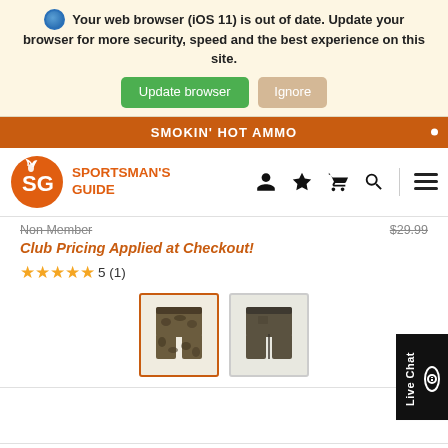🌐 Your web browser (iOS 11) is out of date. Update your browser for more security, speed and the best experience on this site.
Update browser   Ignore
SMOKIN' HOT AMMO
[Figure (logo): Sportsman's Guide logo with orange SG letters in a circle and 'SPORTSMAN'S GUIDE' text, plus navigation icons: person, star, cart, search, and hamburger menu]
Non Member   $29.99
Club Pricing Applied at Checkout!
★★★★★ 5 (1)
[Figure (photo): Two product thumbnail images of shorts - first is camouflage patterned (selected, with orange border), second is plain dark/olive colored shorts]
Live Chat